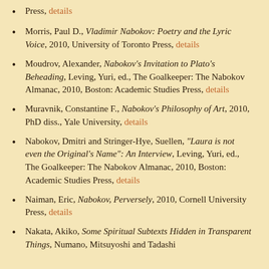Press, details
Morris, Paul D., Vladimir Nabokov: Poetry and the Lyric Voice, 2010, University of Toronto Press, details
Moudrov, Alexander, Nabokov's Invitation to Plato's Beheading, Leving, Yuri, ed., The Goalkeeper: The Nabokov Almanac, 2010, Boston: Academic Studies Press, details
Muravnik, Constantine F., Nabokov's Philosophy of Art, 2010, PhD diss., Yale University, details
Nabokov, Dmitri and Stringer-Hye, Suellen, "Laura is not even the Original's Name": An Interview, Leving, Yuri, ed., The Goalkeeper: The Nabokov Almanac, 2010, Boston: Academic Studies Press, details
Naiman, Eric, Nabokov, Perversely, 2010, Cornell University Press, details
Nakata, Akiko, Some Spiritual Subtexts Hidden in Transparent Things, Numano, Mitsuyoshi and Tadashi